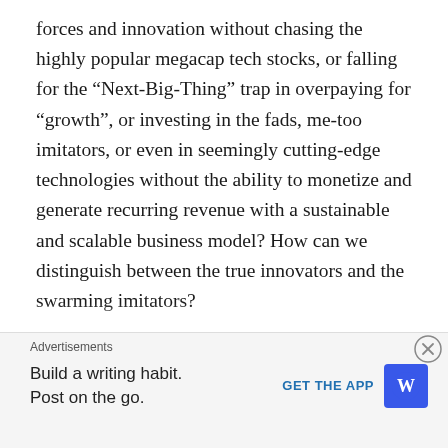forces and innovation without chasing the highly popular megacap tech stocks, or falling for the “Next-Big-Thing” trap in overpaying for “growth”, or investing in the fads, me-too imitators, or even in seemingly cutting-edge technologies without the ability to monetize and generate recurring revenue with a sustainable and scalable business model? How can we distinguish between the true innovators and the swarming imitators?
Question No. 2: What if the “non-disruptive” group of reasonably decent quality companies with seemingly “cheap” valuations, a fertile hunting ground of value investors, all need to have their longer-term profitability and balance sheet asset value to be “reset” by deducting...
[Figure (other): Advertisement banner: 'Advertisements' label above. Content shows 'Build a writing habit. Post on the go.' with a 'GET THE APP' call-to-action button and WordPress logo. Close button (X in circle) on the right.]